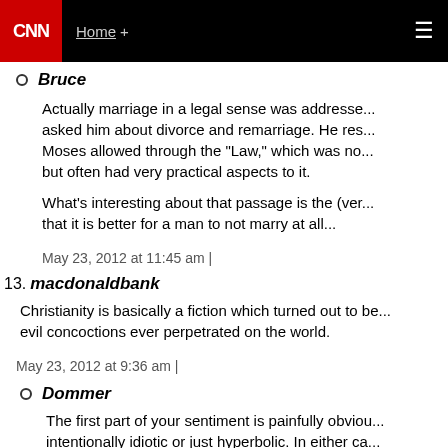CNN | Home +
Bruce
Actually marriage in a legal sense was addressed when they asked him about divorce and remarriage. He responded with what Moses allowed through the "Law," which was no... but often had very practical aspects to it.
What's interesting about that passage is the (ver... that it is better for a man to not marry at all...
May 23, 2012 at 11:45 am |
13. macdonaldbank
Christianity is basically a fiction which turned out to be... evil concoctions ever perpetrated on the world.
May 23, 2012 at 9:36 am |
Dommer
The first part of your sentiment is painfully obviou... intentionally idiotic or just hyperbolic. In either ca...